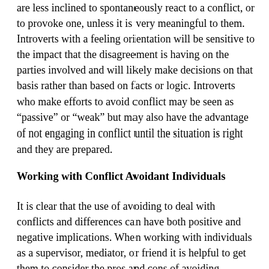are less inclined to spontaneously react to a conflict, or to provoke one, unless it is very meaningful to them. Introverts with a feeling orientation will be sensitive to the impact that the disagreement is having on the parties involved and will likely make decisions on that basis rather than based on facts or logic. Introverts who make efforts to avoid conflict may be seen as “passive” or “weak” but may also have the advantage of not engaging in conflict until the situation is right and they are prepared.
Working with Conflict Avoidant Individuals
It is clear that the use of avoiding to deal with conflicts and differences can have both positive and negative implications. When working with individuals as a supervisor, mediator, or friend it is helpful to get them to consider the pros and cons of avoiding conflict. Developing a strategy or plan